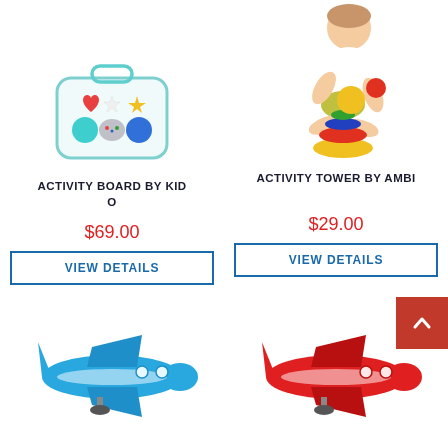[Figure (photo): Activity board toy by Kid O - a small suitcase-shaped board with colorful buttons and shapes]
[Figure (photo): Toddler child playing with a colorful stacking activity tower toy by Ambi]
ACTIVITY BOARD BY KID O
ACTIVITY TOWER BY AMBI
$69.00
$29.00
VIEW DETAILS
VIEW DETAILS
[Figure (photo): Blue plastic toy airplane]
[Figure (photo): Red plastic toy airplane]